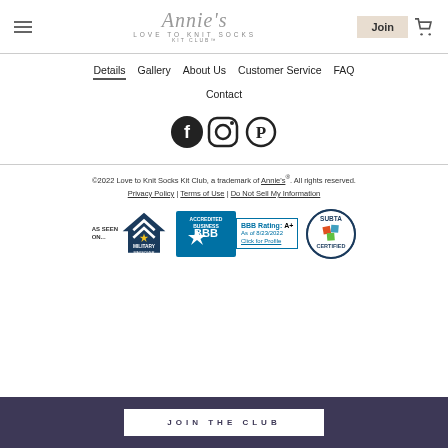Annie's LOVE TO KNIT SOCKS KIT CLUB™ — Join | Cart
Details
Gallery
About Us
Customer Service
FAQ
Contact
[Figure (logo): Social media icons: Facebook, Instagram, Pinterest]
©2022 Love to Knit Socks Kit Club, a trademark of Annie's®. All rights reserved. Privacy Policy | Terms of Use | Do Not Sell My Information
[Figure (logo): AS SEEN ON... Military Makeover logo, BBB Accredited Business BBB Rating: A+ As of 8/23/2022 Click for Profile, SUBTA Certified logo]
JOIN THE CLUB